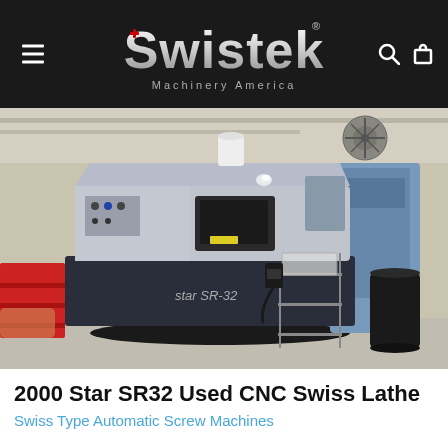Swistek Machinery America
[Figure (photo): Photograph of a 2000 Star SR32 CNC Swiss Lathe machine in an industrial workshop setting. The machine is grey and blue, with a control panel on the front. A wire shelving rack with a basket is positioned to the right of the machine. A black barrel is visible in the right background. Red toolboxes are on the left.]
2000 Star SR32 Used CNC Swiss Lathe
Swiss Type Automatic Screw Machines